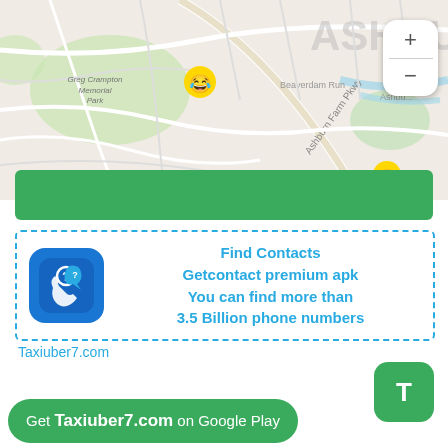[Figure (screenshot): Map screenshot showing Ashburn area with streets, parks (Greg Crampton Memorial Park), Beaverdam Run waterway, Ashburn Farm Pkwy road, and two emoji marker pins. Zoom in/out controls visible on right side.]
[Figure (infographic): Advertisement box with dashed blue border. Contains a blue phone/contact app icon on the left and text: Find Contacts, Getcontact premium apk, You can find more than 3.5 Billion phone numbers]
Taxiuber7.com
[Figure (other): Green rounded square button with letter T in white]
Get Taxiuber7.com on Google Play